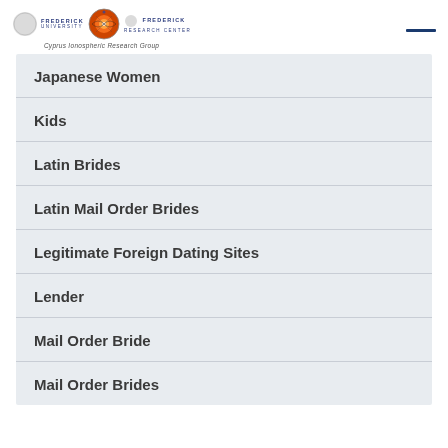Frederick University | Frederick Research Center — Cyprus Ionospheric Research Group
Japanese Women
Kids
Latin Brides
Latin Mail Order Brides
Legitimate Foreign Dating Sites
Lender
Mail Order Bride
Mail Order Brides